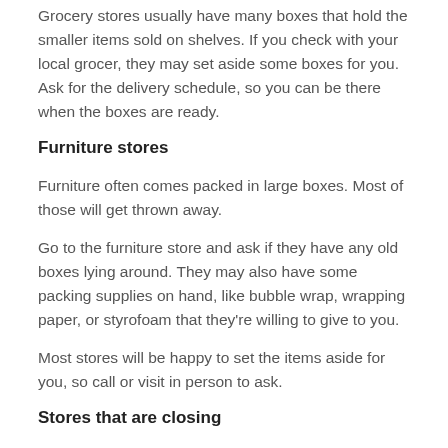Grocery stores usually have many boxes that hold the smaller items sold on shelves. If you check with your local grocer, they may set aside some boxes for you. Ask for the delivery schedule, so you can be there when the boxes are ready.
Furniture stores
Furniture often comes packed in large boxes. Most of those will get thrown away.
Go to the furniture store and ask if they have any old boxes lying around. They may also have some packing supplies on hand, like bubble wrap, wrapping paper, or styrofoam that they're willing to give to you.
Most stores will be happy to set the items aside for you, so call or visit in person to ask.
Stores that are closing
When stores are closing, they may have items to get rid of. Some of those could be packing boxes and packing supplies.